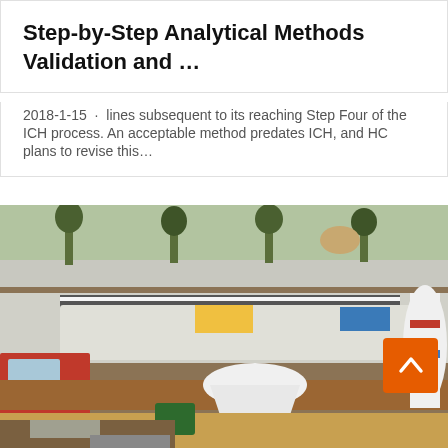Step-by-Step Analytical Methods Validation and …
2018-1-15 · lines subsequent to its reaching Step Four of the ICH process. An acceptable method predates ICH, and HC plans to revise this…
[Figure (photo): Aerial or elevated view of heavy industrial machinery including trucks with flatbed trailers carrying large crushing/milling equipment on what appears to be a factory or port area, with trees visible in the background.]